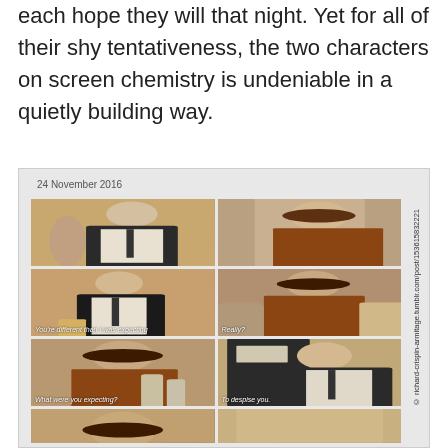each hope they will that night. Yet for all of their shy tentativeness, the two characters on screen chemistry is undeniable in a quietly building way.
[Figure (screenshot): A grid of 6 TV show screenshots (2 columns x 3 rows plus partial 4th row) from what appears to be a drama series, dated 24 November 2016. The images show a man in a suit and a woman in a rust-colored top in various scenes. Subtitles visible include: 'You're different than I was expecting', 'Really?', 'What were you expecting?', 'To despise you.' Watermark reads: richard-crispin-armitage.tumblr.com/post/153615832221]